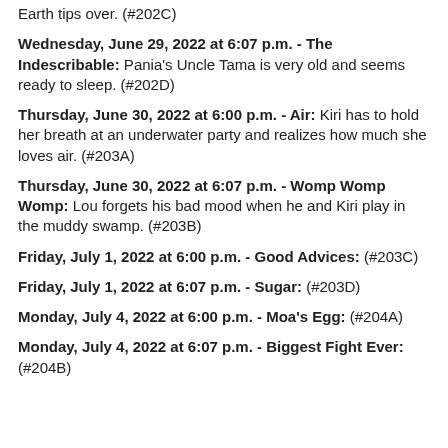Earth tips over. (#202C)
Wednesday, June 29, 2022 at 6:07 p.m. - The Indescribable: Pania's Uncle Tama is very old and seems ready to sleep. (#202D)
Thursday, June 30, 2022 at 6:00 p.m. - Air: Kiri has to hold her breath at an underwater party and realizes how much she loves air. (#203A)
Thursday, June 30, 2022 at 6:07 p.m. - Womp Womp Womp: Lou forgets his bad mood when he and Kiri play in the muddy swamp. (#203B)
Friday, July 1, 2022 at 6:00 p.m. - Good Advices: (#203C)
Friday, July 1, 2022 at 6:07 p.m. - Sugar: (#203D)
Monday, July 4, 2022 at 6:00 p.m. - Moa's Egg: (#204A)
Monday, July 4, 2022 at 6:07 p.m. - Biggest Fight Ever: (#204B)